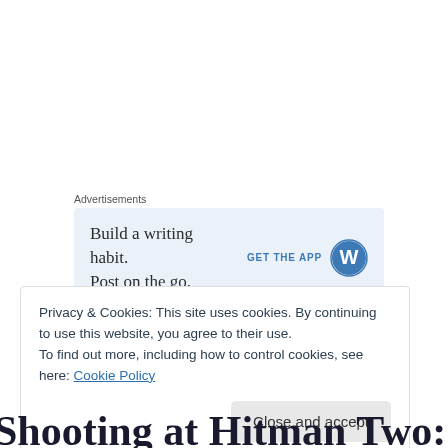Advertisements
[Figure (screenshot): WordPress app advertisement banner: 'Build a writing habit. Post on the go.' with GET THE APP button and WordPress logo]
Privacy & Cookies: This site uses cookies. By continuing to use this website, you agree to their use.
To find out more, including how to control cookies, see here: Cookie Policy
Close and accept
Shooting at Hitman Two: First Post